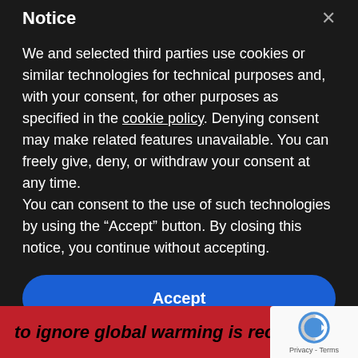Notice
We and selected third parties use cookies or similar technologies for technical purposes and, with your consent, for other purposes as specified in the cookie policy. Denying consent may make related features unavailable. You can freely give, deny, or withdraw your consent at any time.
You can consent to the use of such technologies by using the “Accept” button. By closing this notice, you continue without accepting.
Accept
Learn more and customize
to ignore global warming is reckless and wron
[Figure (logo): reCAPTCHA logo with text Privacy - Terms]